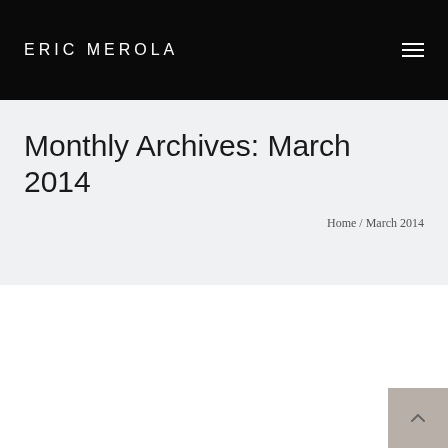ERIC MEROLA
Monthly Archives: March 2014
Home / March 2014
[Figure (photo): Two men at what appears to be a panel discussion or presentation, with a dark background curtain behind them. The man on the left is younger with longer hair, and the man on the right is older wearing glasses.]